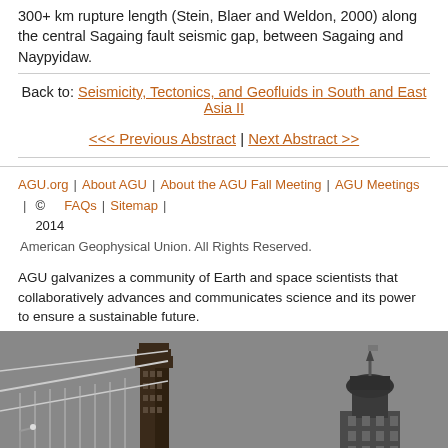300+ km rupture length (Stein, Blaer and Weldon, 2000) along the central Sagaing fault seismic gap, between Sagaing and Naypyidaw.
Back to: Seismicity, Tectonics, and Geofluids in South and East Asia II
<< Previous Abstract | Next Abstract >>
AGU.org | About AGU | About the AGU Fall Meeting | AGU Meetings | © 2014 FAQs | Sitemap | American Geophysical Union. All Rights Reserved.
AGU galvanizes a community of Earth and space scientists that collaboratively advances and communicates science and its power to ensure a sustainable future.
[Figure (illustration): Illustration of the Golden Gate Bridge tower on the left and a building with a dome/clock tower on the right, rendered in grayscale/dark tones]